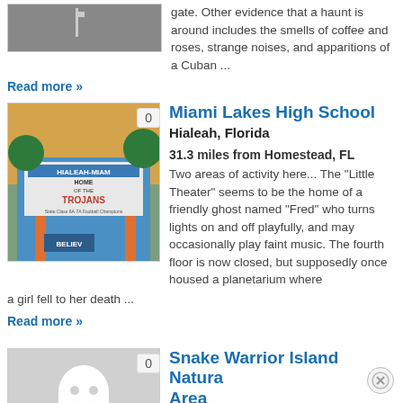[Figure (photo): Partial gray image at top left, cropped]
gate. Other evidence that a haunt is around includes the smells of coffee and roses, strange noises, and apparitions of a Cuban ...
Read more »
[Figure (photo): Photo of Hialeah-Miami Lakes High School entrance sign reading HOME OF THE TROJANS]
Miami Lakes High School
Hialeah, Florida
31.3 miles from Homestead, FL
Two areas of activity here... The "Little Theater" seems to be the home of a friendly ghost named "Fred" who turns lights on and off playfully, and may occasionally play faint music. The fourth floor is now closed, but supposedly once housed a planetarium where a girl fell to her death ...
Read more »
[Figure (illustration): Gray placeholder image with ghost icon]
Snake Warrior Island Natura Area
Miramar, Florida